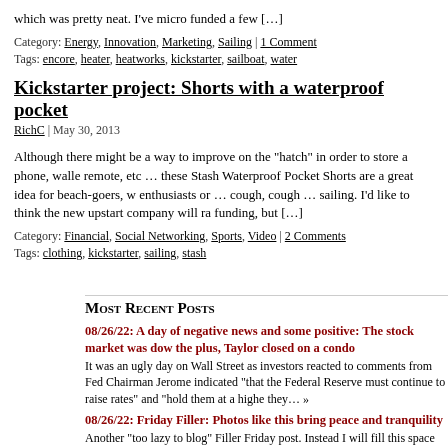which was pretty neat. I've micro funded a few […]
Category: Energy, Innovation, Marketing, Sailing | 1 Comment
Tags: encore, heater, heatworks, kickstarter, sailboat, water
Kickstarter project: Shorts with a waterproof pocket
RichC | May 30, 2013
Although there might be a way to improve on the "hatch" in order to store a phone, wallet, remote, etc … these Stash Waterproof Pocket Shorts are a great idea for beach-goers, w enthusiasts or … cough, cough … sailing. I'd like to think the new upstart company will ra funding, but […]
Category: Financial, Social Networking, Sports, Video | 2 Comments
Tags: clothing, kickstarter, sailing, stash
Most Recent Posts
08/26/22: A day of negative news and some positive: The stock market was dow the plus, Taylor closed on a condo — It was an ugly day on Wall Street as investors reacted to comments from Fed Chairman Jerome indicated "that the Federal Reserve must continue to raise rates" and "hold them at a highe they… »
08/26/22: Friday Filler: Photos like this bring peace and tranquility — Another "too lazy to blog" Filler Friday post. Instead I will fill this space with a photo that brings and tranquility. Who wouldn't mind hanging a hammock in the shade and pretending there wasn't
08/25/22: The 2022 school year has started for my granddaughters — This content is restricted.… »
08/24/22: Leftover travel weekend update and photos from our kids